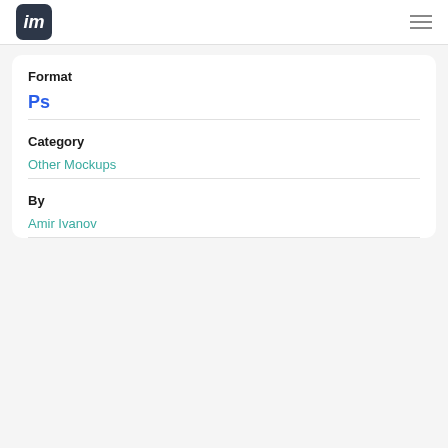im
Format
Ps
Category
Other Mockups
By
Amir Ivanov